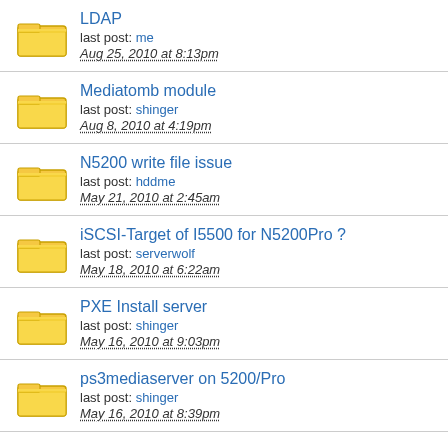LDAP
last post: me
Aug 25, 2010 at 8:13pm
Mediatomb module
last post: shinger
Aug 8, 2010 at 4:19pm
N5200 write file issue
last post: hddme
May 21, 2010 at 2:45am
iSCSI-Target of I5500 for N5200Pro ?
last post: serverwolf
May 18, 2010 at 6:22am
PXE Install server
last post: shinger
May 16, 2010 at 9:03pm
ps3mediaserver on 5200/Pro
last post: shinger
May 16, 2010 at 8:39pm
Bonding Eternet Ports